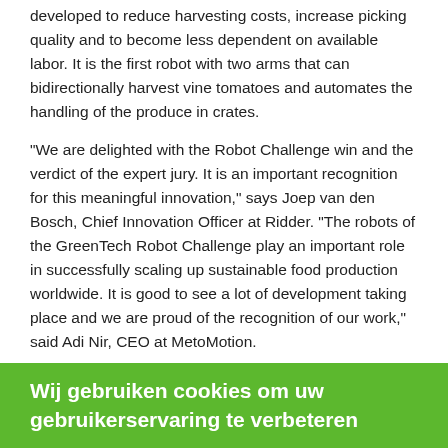developed to reduce harvesting costs, increase picking quality and to become less dependent on available labor. It is the first robot with two arms that can bidirectionally harvest vine tomatoes and automates the handling of the produce in crates.
"We are delighted with the Robot Challenge win and the verdict of the expert jury. It is an important recognition for this meaningful innovation," says Joep van den Bosch, Chief Innovation Officer at Ridder. "The robots of the GreenTech Robot Challenge play an important role in successfully scaling up sustainable food production worldwide. It is good to see a lot of development taking place and we are proud of the recognition of our work," said Adi Nir, CEO at MetoMotion.
GRoW is committed to saving 80% of picking labor in the greenhouse. Currently, the robot is at work at two large Dutch tomato growers. More information is available at www.ridder.com/grow, here interested growers can already reserve their own GRoW robots.
Click here for your free magazine International Greenhouse Guide !
Wij gebruiken cookies om uw gebruikerservaring te verbeteren